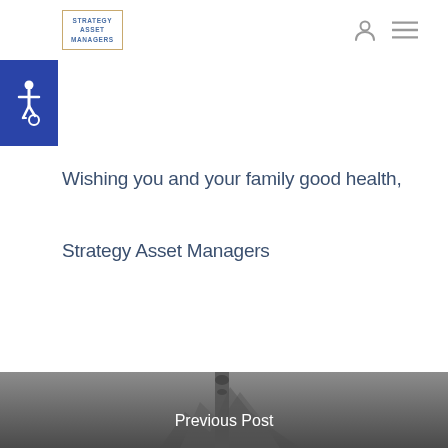Strategy Asset Managers
[Figure (logo): Strategy Asset Managers logo in a gold-bordered box with blue text]
[Figure (illustration): Accessibility wheelchair icon on blue background]
Wishing you and your family good health,
Strategy Asset Managers
[Figure (photo): Dark grayscale photo of what appears to be financial/industrial equipment, partially visible at bottom of page]
Previous Post